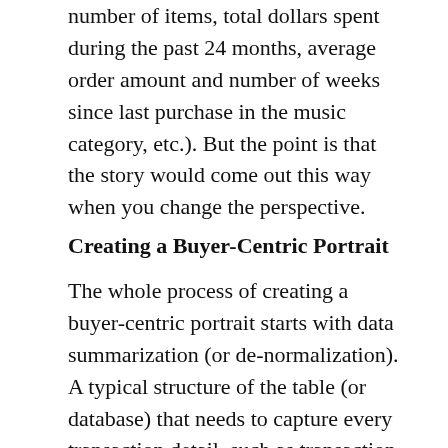number of items, total dollars spent during the past 24 months, average order amount and number of weeks since last purchase in the music category, etc.). But the point is that the story would come out this way when you change the perspective.
Creating a Buyer-Centric Portrait
The whole process of creating a buyer-centric portrait starts with data summarization (or de-normalization). A typical structure of the table (or database) that needs to capture every transaction detail, such as transaction date and amount, would require an entry for every transaction, and the database designers call it the “normal” state. As I explained in my